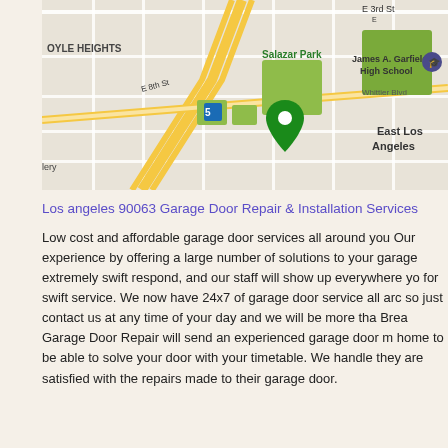[Figure (map): Google Maps view showing East Los Angeles area including Boyle Heights, Salazar Park, James A. Garfield High School, Whittier Blvd, E 8th St, E 3rd St, and freeway 5. A green map pin is visible near Salazar Park.]
Los angeles 90063 Garage Door Repair & Installation Services
Low cost and affordable garage door services all around you Our experience by offering a large number of solutions to your garage extremely swift respond, and our staff will show up everywhere yo for swift service. We now have 24x7 of garage door service all arc so just contact us at any time of your day and we will be more tha Brea Garage Door Repair will send an experienced garage door m home to be able to solve your door with your timetable. We handle they are satisfied with the repairs made to their garage door.